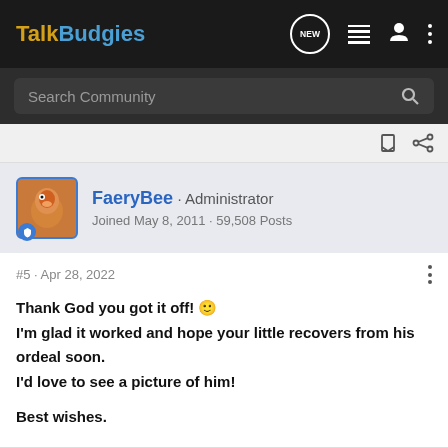TalkBudgies
Search Community
FaeryBee · Administrator
Joined May 8, 2011 · 59,508 Posts
#5 · Apr 28, 2022
Thank God you got it off! 🙂
I'm glad it worked and hope your little recovers from his ordeal soon.
I'd love to see a picture of him!

Best wishes.